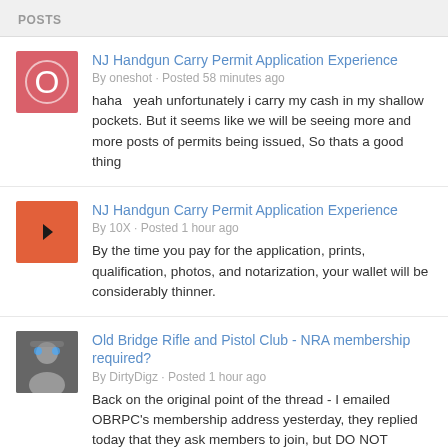POSTS
NJ Handgun Carry Permit Application Experience
By oneshot · Posted 58 minutes ago
haha   yeah unfortunately i carry my cash in my shallow pockets. But it seems like we will be seeing more and more posts of permits being issued, So thats a good thing
NJ Handgun Carry Permit Application Experience
By 10X · Posted 1 hour ago
By the time you pay for the application, prints, qualification, photos, and notarization, your wallet will be considerably thinner.
Old Bridge Rifle and Pistol Club - NRA membership required?
By DirtyDigz · Posted 1 hour ago
Back on the original point of the thread - I emailed OBRPC's membership address yesterday, they replied today that they ask members to join, but DO NOT REQUIRE NRA membership. On my way to applying for membership there.
NJ Handgun Carry Permit Application Experience